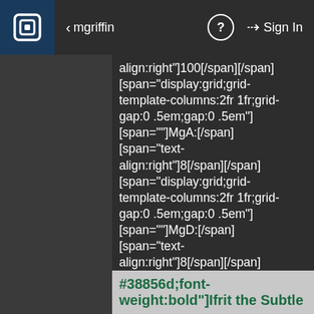mgriffin  |  ?  |  Sign In
align:right"]100[/span][/span][span="display:grid;grid-template-columns:2fr 1fr;grid-gap:0 .5em;gap:0 .5em"][span=""]MgA:[/span][span="text-align:right"]8[/span][/span][span="display:grid;grid-template-columns:2fr 1fr;grid-gap:0 .5em;gap:0 .5em"][span=""]MgD:[/span][span="text-align:right"]8[/span][/span][/cd][/cd][cd="flex:1"][cd="text-shadow:1px 1px #38856d;font-weight:bold"]Ifrit the Subtle